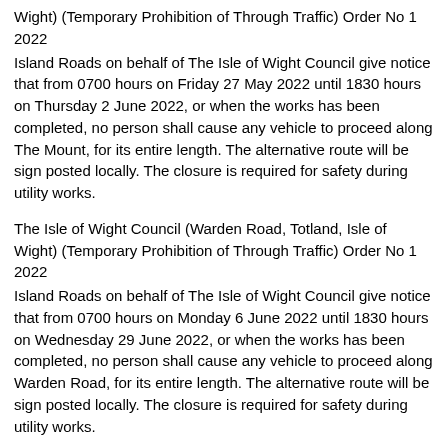Wight) (Temporary Prohibition of Through Traffic) Order No 1 2022
Island Roads on behalf of The Isle of Wight Council give notice that from 0700 hours on Friday 27 May 2022 until 1830 hours on Thursday 2 June 2022, or when the works has been completed, no person shall cause any vehicle to proceed along The Mount, for its entire length. The alternative route will be sign posted locally. The closure is required for safety during utility works.
The Isle of Wight Council (Warden Road, Totland, Isle of Wight) (Temporary Prohibition of Through Traffic) Order No 1 2022
Island Roads on behalf of The Isle of Wight Council give notice that from 0700 hours on Monday 6 June 2022 until 1830 hours on Wednesday 29 June 2022, or when the works has been completed, no person shall cause any vehicle to proceed along Warden Road, for its entire length. The alternative route will be sign posted locally. The closure is required for safety during utility works.